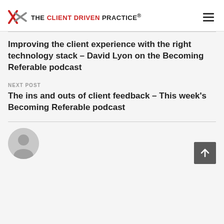THE CLIENT DRIVEN PRACTICE®
Improving the client experience with the right technology stack – David Lyon on the Becoming Referable podcast
NEXT POST
The ins and outs of client feedback – This week's Becoming Referable podcast
[Figure (illustration): Circular grey avatar/profile placeholder icon at bottom left]